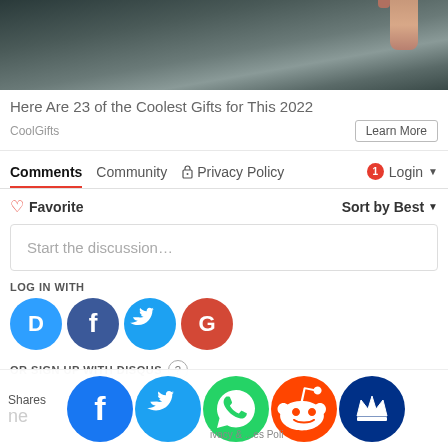[Figure (photo): Dark textured surface photo with a finger/thumb visible at top right corner]
Here Are 23 of the Coolest Gifts for This 2022
CoolGifts
Learn More
Comments  Community  🔒 Privacy Policy  1 Login ▾
♡ Favorite
Sort by Best ▾
Start the discussion…
LOG IN WITH
[Figure (logo): Social login icons: Disqus (D), Facebook (f), Twitter bird, Google (G)]
OR SIGN UP WITH DISQUS ?
[Figure (infographic): Bottom share bar with Facebook, Twitter, WhatsApp, Reddit, Crown icons and Shares label]